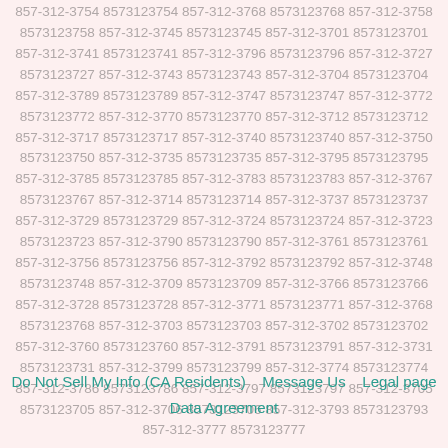857-312-3754 8573123754 857-312-3768 8573123768 857-312-3758 8573123758 857-312-3745 8573123745 857-312-3701 8573123701 857-312-3741 8573123741 857-312-3796 8573123796 857-312-3727 8573123727 857-312-3743 8573123743 857-312-3704 8573123704 857-312-3789 8573123789 857-312-3747 8573123747 857-312-3772 8573123772 857-312-3770 8573123770 857-312-3712 8573123712 857-312-3717 8573123717 857-312-3740 8573123740 857-312-3750 8573123750 857-312-3735 8573123735 857-312-3795 8573123795 857-312-3785 8573123785 857-312-3783 8573123783 857-312-3767 8573123767 857-312-3714 8573123714 857-312-3737 8573123737 857-312-3729 8573123729 857-312-3724 8573123724 857-312-3723 8573123723 857-312-3790 8573123790 857-312-3761 8573123761 857-312-3756 8573123756 857-312-3792 8573123792 857-312-3748 8573123748 857-312-3709 8573123709 857-312-3766 8573123766 857-312-3728 8573123728 857-312-3771 8573123771 857-312-3768 8573123768 857-312-3703 8573123703 857-312-3702 8573123702 857-312-3760 8573123760 857-312-3791 8573123791 857-312-3731 8573123731 857-312-3799 8573123799 857-312-3774 8573123774 857-312-3786 8573123786 857-312-3797 8573123797 857-312-3705 8573123705 857-312-3706 8573123706 857-312-3793 8573123793 857-312-3777 8573123777
Do Not Sell My Info (CA Residents)    Message Us    Legal page    Data Agreement